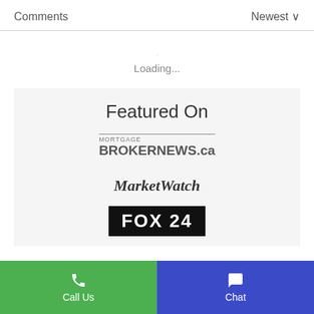Comments
Newest ∨
Loading...
Featured On
[Figure (logo): Mortgage BrokerNews.ca logo with horizontal line above and bold text]
[Figure (logo): MarketWatch logo in bold italic serif font]
[Figure (logo): FOX 24 logo in white bold text on black background, partially visible]
Call Us   Chat